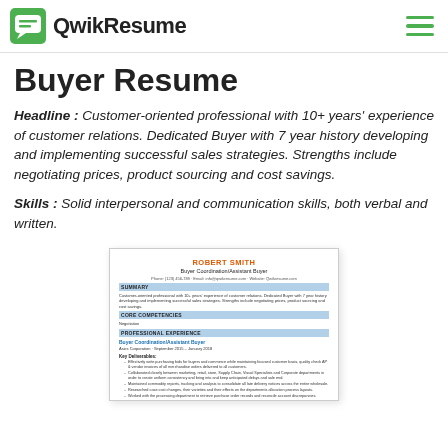QwikResume
Buyer Resume
Headline : Customer-oriented professional with 10+ years' experience of customer relations. Dedicated Buyer with 7 year history developing and implementing successful sales strategies. Strengths include negotiating prices, product sourcing and cost savings.
Skills : Solid interpersonal and communication skills, both verbal and written.
[Figure (screenshot): Thumbnail preview of a resume for Robert Smith, Buyer Coordination/Assistant Buyer, showing summary, core competencies, and professional experience sections.]